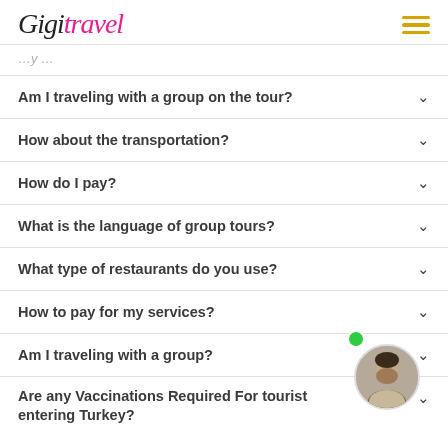GigiTravel [logo with hamburger menu]
Am I traveling with a group on the tour?
How about the transportation?
How do I pay?
What is the language of group tours?
What type of restaurants do you use?
How to pay for my services?
Am I traveling with a group?
Are any Vaccinations Required For tourist entering Turkey?